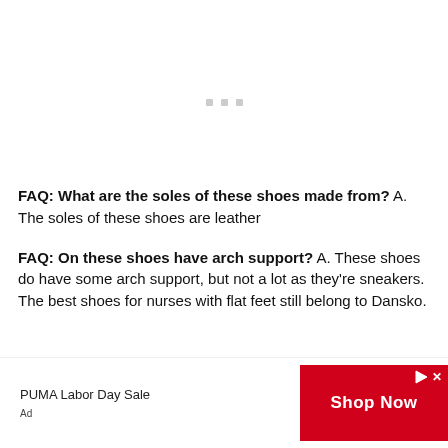[Figure (other): Three small gray square dots/loading indicator in the upper center area of the page]
FAQ: What are the soles of these shoes made from? A. The soles of these shoes are leather
FAQ: On these shoes have arch support? A. These shoes do have some arch support, but not a lot as they're sneakers. The best shoes for nurses with flat feet still belong to Dansko.
[Figure (other): Advertisement banner: PUMA Labor Day Sale with red Shop Now button, play and close icons]